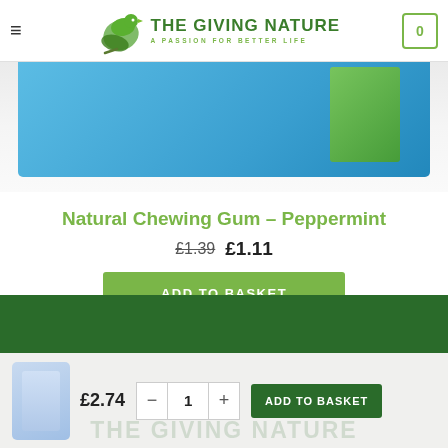THE GIVING NATURE – A PASSION FOR BETTER LIFE
[Figure (photo): Partial product image showing top of chewing gum packaging with blue and green design against light grey background]
Natural Chewing Gum – Peppermint
£1.39  £1.11
ADD TO BASKET
[Figure (photo): Small thumbnail of a product (chewing gum jar/bottle) shown in bottom cart bar with blue/yellow packaging]
£2.74  -  1  +  ADD TO BASKET
THE GIVING NATURE